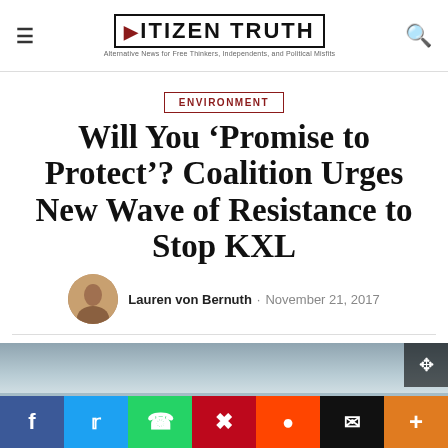CITIZEN TRUTH — Alternative News for Free Thinkers, Independents, and Political Misfits
ENVIRONMENT
Will You 'Promise to Protect'? Coalition Urges New Wave of Resistance to Stop KXL
Lauren von Bernuth · November 21, 2017
[Figure (photo): Outdoor sky photograph, overcast grey sky]
Social share bar: Facebook, Twitter, WhatsApp, Pinterest, Reddit, Email, More